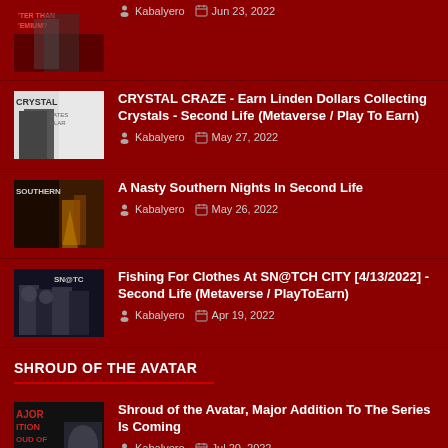CRYSTAL CRAZE - Earn Linden Dollars Collecting Crystals - Second Life (Metaverse / Play To Earn)
Kabalyero | May 27, 2022
A Nasty Southern Nights In Second Life
Kabalyero | May 26, 2022
Fishing For Clothes At SN@TCH CITY [4/13/2022] - Second Life (Metaverse / PlayToEarn)
Kabalyero | Apr 19, 2022
SHROUD OF THE AVATAR
Shroud of the Avatar, Major Addition To The Series Is Coming
Kabalyero | Jul 20, 2022
Shroud of the Avatar Whale QUITS The Game!